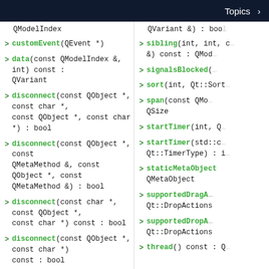Topics >
QModelIndex
customEvent(QEvent *)
data(const QModelIndex &, int) const : QVariant
disconnect(const QObject *, const char *, const QObject *, const char *) : bool
disconnect(const QObject *, const QMetaMethod &, const QObject *, const QMetaMethod &) : bool
disconnect(const char *, const QObject *, const char *) const : bool
disconnect(const QObject *, const char *) const : bool
disconnect(const QMetaObject::Connection &) : bool
disconnect(const QObject *, PointerToMemberFunction, const QObject *, PointerToMemberFunction) : bool
disconnectNotify(const QMetaMethod &)
QVariant &) : bool
sibling(int, int, c... &) const : QMode...
signalsBlocked()
sort(int, Qt::Sort...
span(const QMo... QSize
startTimer(int, Q...
startTimer(std::c... Qt::TimerType) : i...
staticMetaObject QMetaObject
supportedDragA... Qt::DropActions
supportedDropA... Qt::DropActions
thread() const : Q...